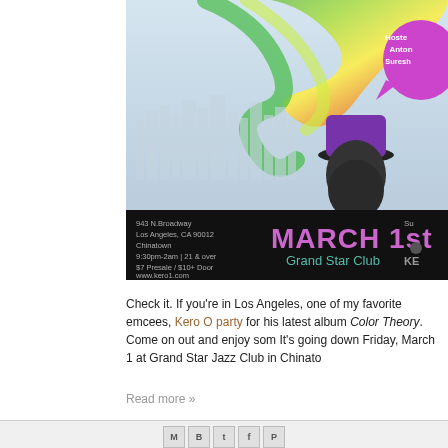[Figure (photo): Event flyer for Kero One's Color Theory album release party at Grand Star Club. Shows a man wearing a purple hat against a Los Angeles cityscape background with colorful swirling graphics. Bottom bar shows: 943 N.Broadway, Los Angeles, CA 90012, Chinatown, 9:30pm-2am | 21 & over, $7 Presale / $10+ Door, www.kero1.com. Center: MARCH 1st Grand Star Club. Speech bubble top right: Hosted Antonio Suresh. Right side partially cut off.]
Check it. If you're in Los Angeles, one of my favorite emcees, Kero One is throwing a release party for his latest album Color Theory. Come on out and enjoy some great hip hop music. It's going down Friday, March 1 at Grand Star Jazz Club in Chinatown
Read more »
[Figure (infographic): Social sharing icons row: Gmail (M), Blogger (B), Twitter (bird), Facebook (f), Pinterest (P)]
FILE UNDER: events, kero one, los angeles, music